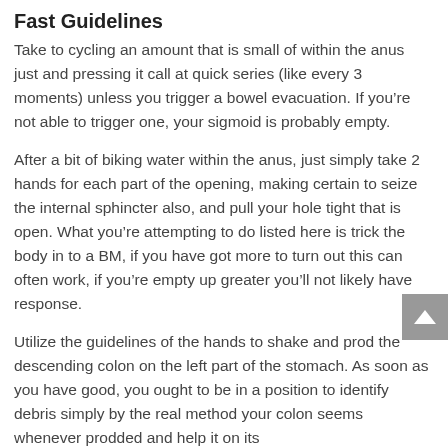Fast Guidelines
Take to cycling an amount that is small of within the anus just and pressing it call at quick series (like every 3 moments) unless you trigger a bowel evacuation. If you’re not able to trigger one, your sigmoid is probably empty.
After a bit of biking water within the anus, just simply take 2 hands for each part of the opening, making certain to seize the internal sphincter also, and pull your hole tight that is open. What you’re attempting to do listed here is trick the body in to a BM, if you have got more to turn out this can often work, if you’re empty up greater you’ll not likely have response.
Utilize the guidelines of the hands to shake and prod the descending colon on the left part of the stomach. As soon as you have good, you ought to be in a position to identify debris simply by the real method your colon seems whenever prodded and help it on its